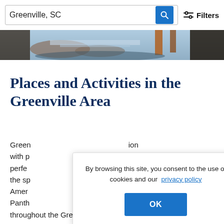Greenville, SC — search bar with Filters button
[Figure (photo): Aerial photo strip showing a waterfall or water feature in a natural park setting with rocks and trees]
Places and Activities in the Greenville Area
Green... ion with p... perfe... or the sp... Amer... Panth... ies throughout the Greenville area, some of which include
By browsing this site, you consent to the use of cookies and our privacy policy
OK